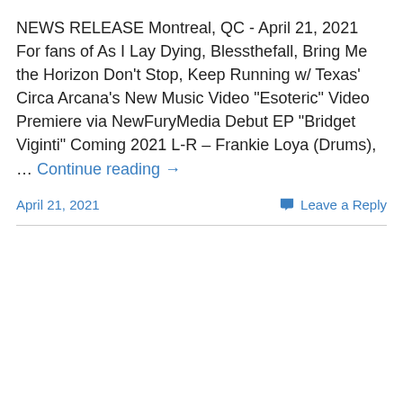NEWS RELEASE Montreal, QC - April 21, 2021 For fans of As I Lay Dying, Blessthefall, Bring Me the Horizon Don't Stop, Keep Running w/ Texas' Circa Arcana's New Music Video "Esoteric" Video Premiere via NewFuryMedia Debut EP "Bridget Viginti" Coming 2021 L-R – Frankie Loya (Drums), … Continue reading →
April 21, 2021    Leave a Reply